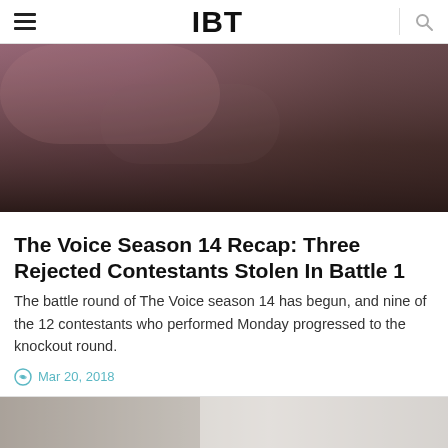IBT
[Figure (photo): Blurred hero image with dark brown and muted pink/mauve tones, appears to be a promotional image for The Voice TV show]
The Voice Season 14 Recap: Three Rejected Contestants Stolen In Battle 1
The battle round of The Voice season 14 has begun, and nine of the 12 contestants who performed Monday progressed to the knockout round.
Mar 20, 2018
[Figure (photo): Partially visible blurred image at the bottom of the page, showing light and dark tones]